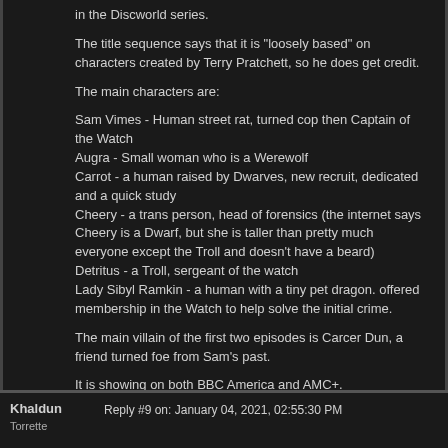in the Discworld series.
The title sequence says that it is "loosely based" on characters created by Terry Pratchett, so he does get credit.
The main characters are:
Sam Vimes - Human street rat, turned cop then Captain of the Watch
Augra - Small woman who is a Werewolf
Carrot - a human raised by Dwarves, new recruit, dedicated and a quick study
Cheery - a trans person, head of forensics (the internet says Cheery is a Dwarf, but she is taller than pretty much everyone except the Troll and doesn't have a beard)
Detritus - a Troll, sergeant of the watch
Lady Sibyl Ramkin - a human with a tiny pet dragon. offered membership in the Watch to help solve the initial crime.
The main villain of the first two episodes is Carcer Dun, a friend turned foe from Sam's past.
It is showing on both BBC America and AMC+.
Khaldun
Torrette
Reply #9 on: January 04, 2021, 02:55:30 PM